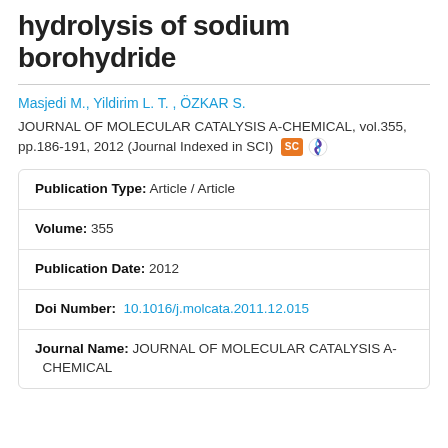hydrolysis of sodium borohydride
Masjedi M., Yildirim L. T. , ÖZKAR S.
JOURNAL OF MOLECULAR CATALYSIS A-CHEMICAL, vol.355, pp.186-191, 2012 (Journal Indexed in SCI)
| Publication Type: | Article / Article |
| Volume: | 355 |
| Publication Date: | 2012 |
| Doi Number: | 10.1016/j.molcata.2011.12.015 |
| Journal Name: | JOURNAL OF MOLECULAR CATALYSIS A-CHEMICAL |